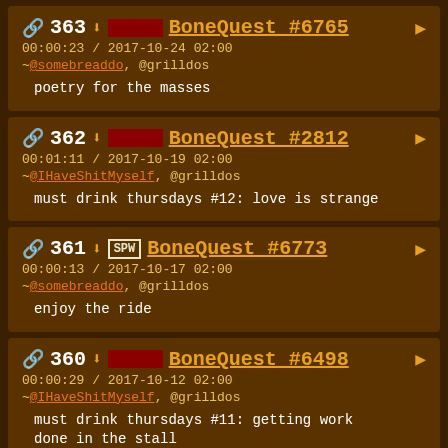363 | BoneQuest #6765 | 00:00:23 / 2017-10-24 02:00 | ~@somebreaddo, @grilldos | poetry for the masses
362 | BoneQuest #2812 | 00:01:11 / 2017-10-19 02:00 | ~@IHaveShitMyself, @grilldos | must drink thursdays #12: love is strange
361 | BoneQuest #6773 | 00:00:13 / 2017-10-17 02:00 | ~@somebreaddo, @grilldos | enjoy the ride
360 | BoneQuest #6498 | 00:00:29 / 2017-10-12 02:00 | ~@IHaveShitMyself, @grilldos | must drink thursdays #11: getting work done in the stall